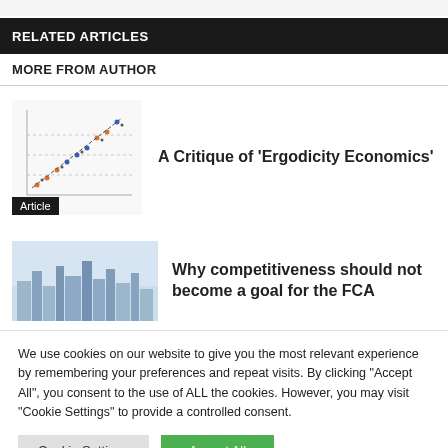RELATED ARTICLES
MORE FROM AUTHOR
[Figure (scatter-plot): Scatter plot thumbnail showing data points with dotted lines, labeled 'Article']
A Critique of ‘Ergodicity Economics’
[Figure (photo): City skyline photograph, light blue/grey tones]
Why competitiveness should not become a goal for the FCA
We use cookies on our website to give you the most relevant experience by remembering your preferences and repeat visits. By clicking “Accept All”, you consent to the use of ALL the cookies. However, you may visit "Cookie Settings" to provide a controlled consent.